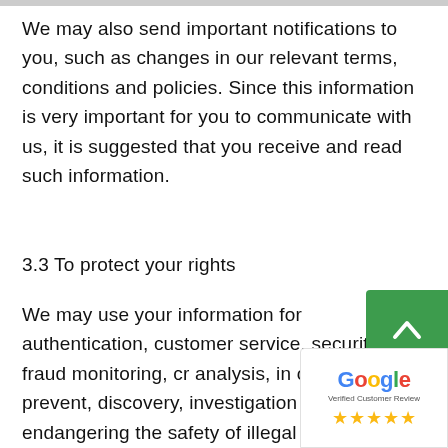We may also send important notifications to you, such as changes in our relevant terms, conditions and policies. Since this information is very important for you to communicate with us, it is suggested that you receive and read such information.
3.3 To protect your rights
We may use your information for authentication, customer service, security, fraud monitoring, cr analysis, in order to prevent, discovery, investigation of fraud, endangering the safety of illegal or breach of our agreement, policies c to protect you, we, partners and other truste